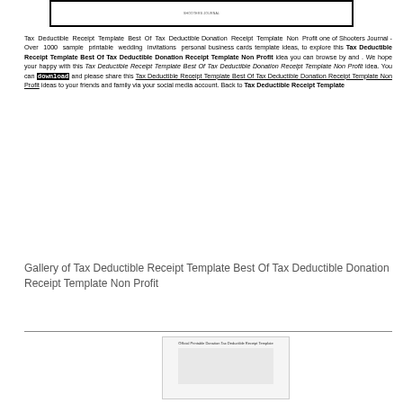[Figure (screenshot): Top image showing a document preview thumbnail with dark border]
Tax Deductible Receipt Template Best Of Tax Deductible Donation Receipt Template Non Profit one of Shooters Journal - Over 1000 sample printable wedding invitations personal business cards template ideas, to explore this Tax Deductible Receipt Template Best Of Tax Deductible Donation Receipt Template Non Profit idea you can browse by and . We hope your happy with this Tax Deductible Receipt Template Best Of Tax Deductible Donation Receipt Template Non Profit idea. You can download and please share this Tax Deductible Receipt Template Best Of Tax Deductible Donation Receipt Template Non Profit ideas to your friends and family via your social media account. Back to Tax Deductible Receipt Template
Gallery of Tax Deductible Receipt Template Best Of Tax Deductible Donation Receipt Template Non Profit
[Figure (screenshot): Bottom thumbnail image of a tax deductible receipt template document]